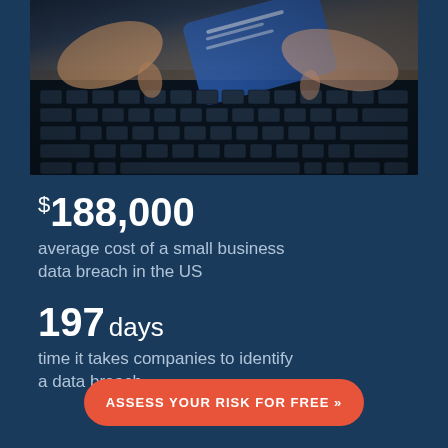[Figure (photo): Hands typing on a laptop keyboard with a credit card, representing cybersecurity/data breach risk]
$188,000
average cost of a small business data breach in the US
197 days
time it takes companies to identify a data breach
ASSESS YOUR RISK FOR FREE »